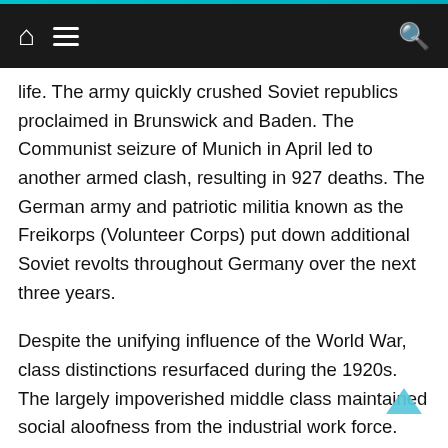Navigation bar with home, menu, and search icons
life. The army quickly crushed Soviet republics proclaimed in Brunswick and Baden. The Communist seizure of Munich in April led to another armed clash, resulting in 927 deaths. The German army and patriotic militia known as the Freikorps (Volunteer Corps) put down additional Soviet revolts throughout Germany over the next three years.
Despite the unifying influence of the World War, class distinctions resurfaced during the 1920s. The largely impoverished middle class maintained social aloofness from the industrial work force. Labor was consequently still susceptible to Communist propaganda about exploitation by capitalism. The Red Front attracted millions of followers during the politically tumultuous years of Germany's Weimar Republic. The Communists sought power through